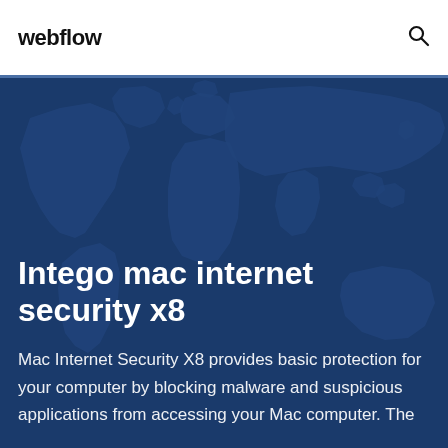webflow
Intego mac internet security x8
Mac Internet Security X8 provides basic protection for your computer by blocking malware and suspicious applications from accessing your Mac computer. The